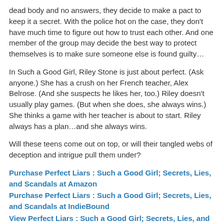dead body and no answers, they decide to make a pact to keep it a secret. With the police hot on the case, they don't have much time to figure out how to trust each other. And one member of the group may decide the best way to protect themselves is to make sure someone else is found guilty…
In Such a Good Girl, Riley Stone is just about perfect. (Ask anyone.) She has a crush on her French teacher, Alex Belrose. (And she suspects he likes her, too.) Riley doesn't usually play games. (But when she does, she always wins.) She thinks a game with her teacher is about to start. Riley always has a plan…and she always wins.
Will these teens come out on top, or will their tangled webs of deception and intrigue pull them under?
Purchase Perfect Liars : Such a Good Girl; Secrets, Lies, and Scandals at Amazon
Purchase Perfect Liars : Such a Good Girl; Secrets, Lies, and Scandals at IndieBound
View Perfect Liars : Such a Good Girl; Secrets, Lies, and Scandals on Goodreads